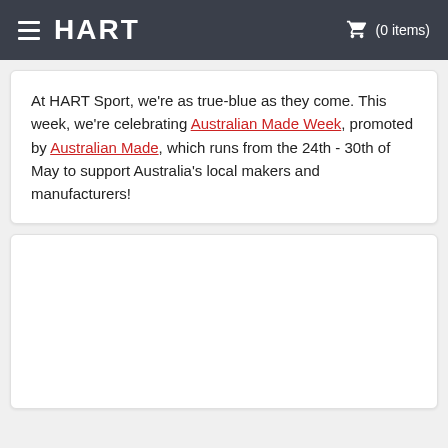HART (0 items)
At HART Sport, we're as true-blue as they come. This week, we're celebrating Australian Made Week, promoted by Australian Made, which runs from the 24th - 30th of May to support Australia's local makers and manufacturers!
[Figure (other): Empty white card/placeholder area below the text card]